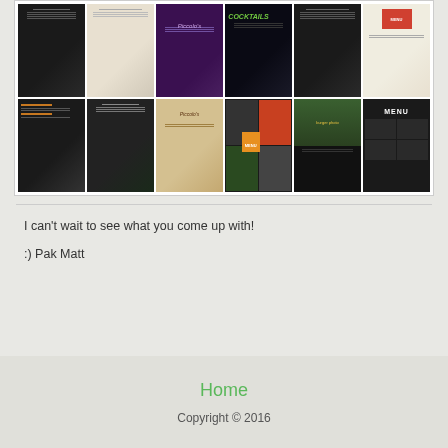[Figure (photo): Mosaic collage of restaurant menu templates including dark chalkboard menus, elegant beige menus, purple fine dining menus, cocktail menus, food photo menus, and colorful menu templates]
I can't wait to see what you come up with!
:) Pak Matt
Home
Copyright © 2016